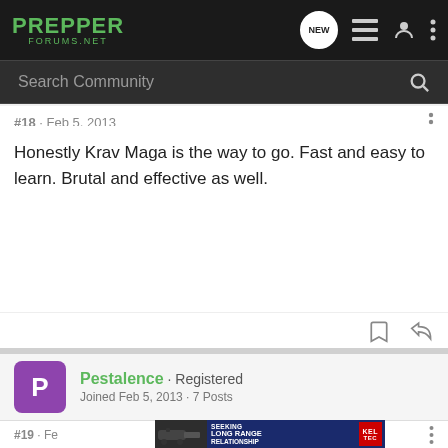PREPPER FORUMS.NET
Search Community
#18 · Feb 5, 2013
Honestly Krav Maga is the way to go. Fast and easy to learn. Brutal and effective as well.
Pestalence · Registered
Joined Feb 5, 2013 · 7 Posts
#19 · Fe
[Figure (screenshot): Kel-Tec CP33 pistol advertisement: SEEKING LONG RANGE RELATIONSHIP with Kel-Tec logo and gun image]